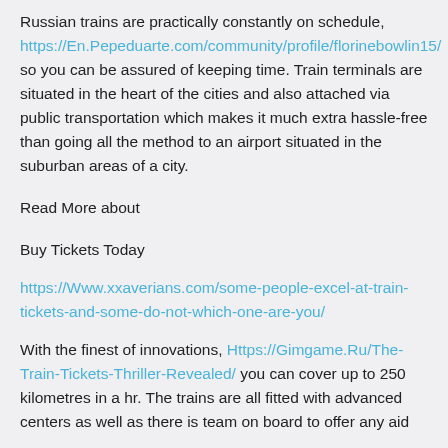Russian trains are practically constantly on schedule, https://En.Pepeduarte.com/community/profile/florinebowlin15/ so you can be assured of keeping time. Train terminals are situated in the heart of the cities and also attached via public transportation which makes it much extra hassle-free than going all the method to an airport situated in the suburban areas of a city.
Read More about
Buy Tickets Today
https://Www.xxaverians.com/some-people-excel-at-train-tickets-and-some-do-not-which-one-are-you/
With the finest of innovations, Https://Gimgame.Ru/The-Train-Tickets-Thriller-Revealed/ you can cover up to 250 kilometres in a hr. The trains are all fitted with advanced centers as well as there is team on board to offer any aid